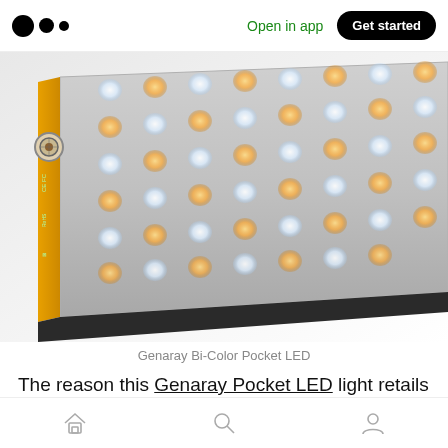Open in app | Get started
[Figure (photo): Close-up product photo of a Genaray Bi-Color Pocket LED light panel showing alternating warm and cool white LED bulbs arranged in a grid on a silver/gray body with a yellow edge and compliance markings on the side.]
Genaray Bi-Color Pocket LED
The reason this Genaray Pocket LED light retails for $50 more than the iKan is its Bi-Color feature. What that means is that in addition to
Home | Search | Profile